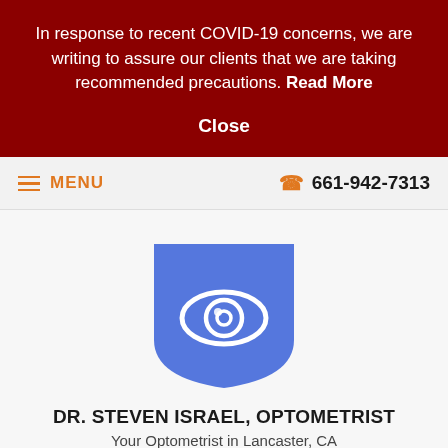In response to recent COVID-19 concerns, we are writing to assure our clients that we are taking recommended precautions. Read More
Close
MENU
661-942-7313
[Figure (logo): Blue shield with white eye icon logo for Dr. Steven Israel, Optometrist]
DR. STEVEN ISRAEL, OPTOMETRIST
Your Optometrist in Lancaster, CA
Home > Articles > Newsletters >
How is Eye Pressure Measured?